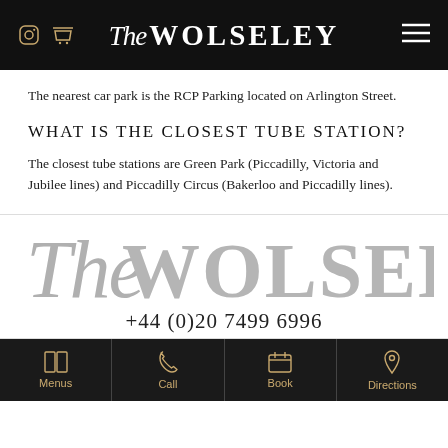The Wolseley
The nearest car park is the RCP Parking located on Arlington Street.
What is the closest tube station?
The closest tube stations are Green Park (Piccadilly, Victoria and Jubilee lines) and Piccadilly Circus (Bakerloo and Piccadilly lines).
[Figure (logo): The Wolseley restaurant logo in large grey script and serif text]
+44 (0)20 7499 6996
Menus | Call | Book | Directions